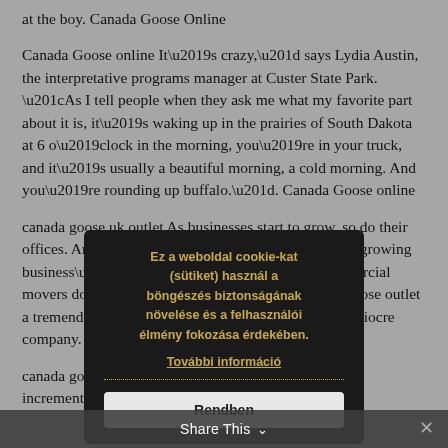at the boy. Canada Goose Online
Canada Goose online It’s crazy,” says Lydia Austin, the interpretative programs manager at Custer State Park. “As I tell people when they ask me what my favorite part about it is, it’s waking up in the prairies of South Dakota at 6 o’clock in the morning, you’re in your truck, and it’s usually a beautiful morning, a cold morning. And you’re rounding up buffalo.”. Canada Goose online
canada goose uk outlet As businesses start to grow, so do their offices. An office move can be a momentous start to a growing business’s future if the right professional commercial movers do it. However, a move can also put canada goose outlet a tremendous damper on the occasion if done by a mediocre company. canada goose outlet
[Figure (screenshot): Cookie consent modal overlay with dark background. Text in gold/yellow: 'Ez a weboldal cookie-kat (sütiket) használ a böngészés biztonságának növelése és a felhasználói élmény fokozása érdekében.' Link: 'További információ'. Button: 'Rendben']
canada goose coats on sale This equation is utilized in increments of two, until you have reached age 40 for
Share This